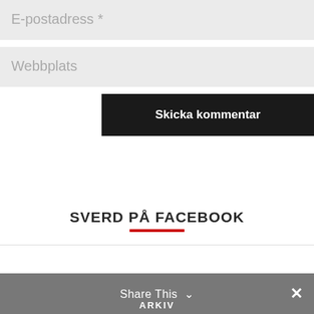E-postadress *
Webbplats
Skicka kommentar
SVERD PÅ FACEBOOK
Share This ∨  ✕  ARKIV